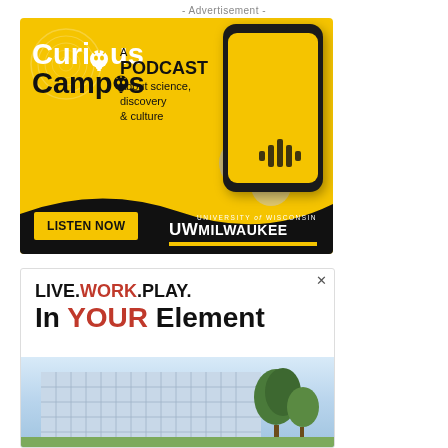- Advertisement -
[Figure (illustration): Curious Campus podcast advertisement for University of Wisconsin-Milwaukee. Yellow background with smartphone graphic, text 'Curious Campus - A PODCAST about science, discovery & culture', LISTEN NOW button, and UW Milwaukee logo.]
[Figure (photo): Live. Work. Play. In YOUR Element advertisement with building photograph below.]